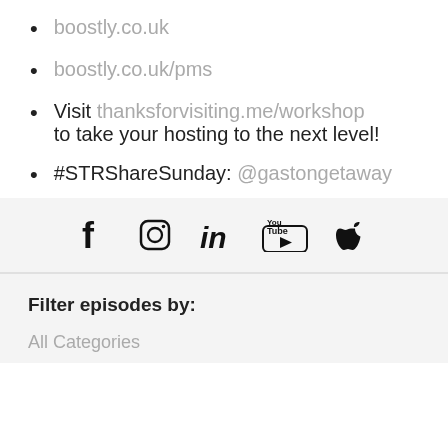boostly.co.uk
boostly.co.uk/pms
Visit thanksforvisiting.me/workshop to take your hosting to the next level!
#STRShareSunday: @gastongetaway
[Figure (infographic): Social media icons row: Facebook, Instagram, LinkedIn, YouTube, Apple]
Filter episodes by:
All Categories